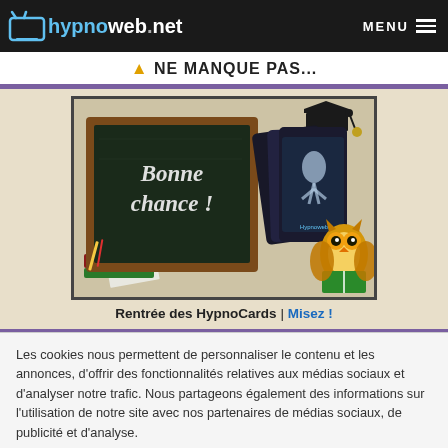hypnoweb.net | MENU
⚠ NE MANQUE PAS...
[Figure (illustration): Promotional image for Rentrée des HypnoCards showing a chalkboard with 'Bonne chance!' text, trading cards, a graduation cap, and an owl holding a book on a beige background.]
Rentrée des HypnoCards | Misez !
Les cookies nous permettent de personnaliser le contenu et les annonces, d'offrir des fonctionnalités relatives aux médias sociaux et d'analyser notre trafic. Nous partageons également des informations sur l'utilisation de notre site avec nos partenaires de médias sociaux, de publicité et d'analyse.
OK, j'ai compris